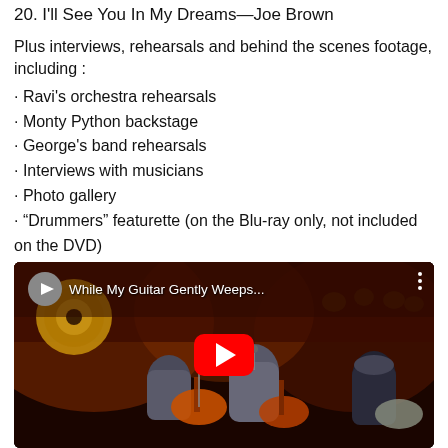20. I'll See You In My Dreams—Joe Brown
Plus interviews, rehearsals and behind the scenes footage, including :
· Ravi's orchestra rehearsals
· Monty Python backstage
· George's band rehearsals
· Interviews with musicians
· Photo gallery
· “Drummers” featurette (on the Blu-ray only, not included on the DVD)
[Figure (screenshot): YouTube video thumbnail showing musicians playing guitars on a concert stage with dark red/orange lighting. Title bar reads 'While My Guitar Gently Weeps...' with YouTube logo and play button overlay.]